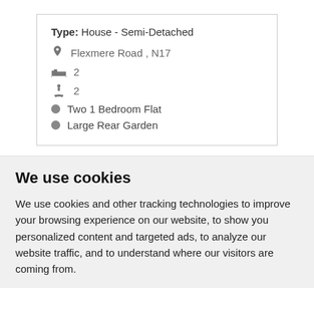Type: House - Semi-Detached
Flexmere Road , N17
2
2
Two 1 Bedroom Flat
Large Rear Garden
We use cookies
We use cookies and other tracking technologies to improve your browsing experience on our website, to show you personalized content and targeted ads, to analyze our website traffic, and to understand where our visitors are coming from.